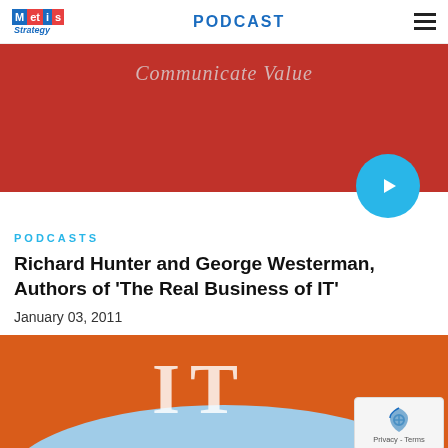Metis Strategy | PODCAST
[Figure (screenshot): Red banner with italic text 'Communicate Value' and a circular blue play button]
PODCASTS
Richard Hunter and George Westerman, Authors of 'The Real Business of IT'
January 03, 2011
[Figure (photo): Book cover with orange background, large white IT letters, and a globe illustration at the bottom]